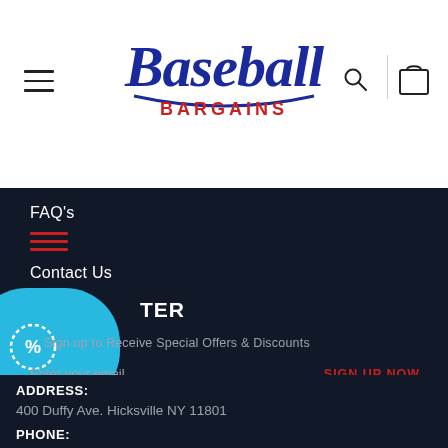[Figure (logo): Baseball Bargains logo with blue cursive baseball text and red BARGAINS text underneath]
FAQ's
Contact Us
Sign up to Receive Special Offers & Discounts
Enter your email
SIGN UP NOW
BATTING CAGE AND STORE INFO:
ADDRESS:
400 Duffy Ave. Hicksville NY 11801
PHONE: